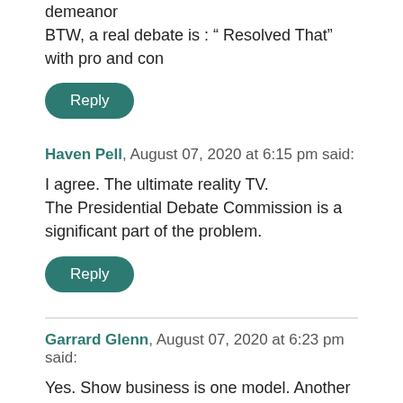demeanor
BTW, a real debate is : “ Resolved That” with pro and con
Reply
Haven Pell, August 07, 2020 at 6:15 pm said:
I agree. The ultimate reality TV.
The Presidential Debate Commission is a significant part of the problem.
Reply
Garrard Glenn, August 07, 2020 at 6:23 pm said:
Yes. Show business is one model. Another is professional sports. A great many people are very passionate about professional sports. They want their team to win. if their team wins, they will be